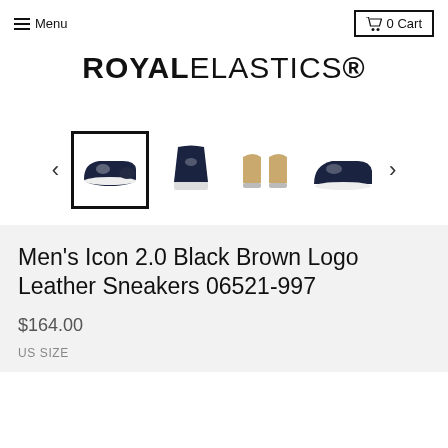≡ Menu | 🛒 0 Cart
ROYAL ELASTICS®
[Figure (photo): Product image gallery thumbnails: selected thumbnail showing side view of navy sneaker with white sole (bordered), plus three additional thumbnails showing front view, top/sole view, and angled side view of the same sneaker. Left and right navigation arrows.]
Men's Icon 2.0 Black Brown Logo Leather Sneakers 06521-997
$164.00
US SIZE